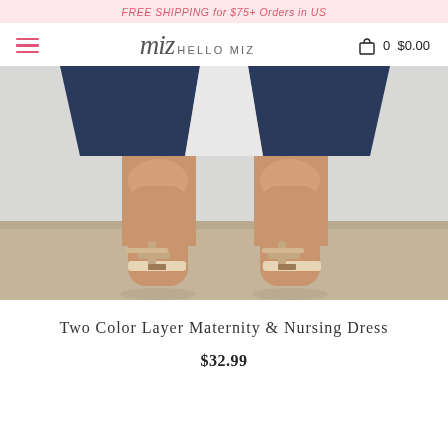FREE SHIPPING for $75+ Orders in US
[Figure (logo): Hello Miz brand logo with hamburger menu and cart icon showing 0 $0.00]
[Figure (photo): Woman's legs wearing a navy blue two-color layer maternity dress and nude block heel sandals, standing on a concrete floor]
Two Color Layer Maternity & Nursing Dress
$32.99